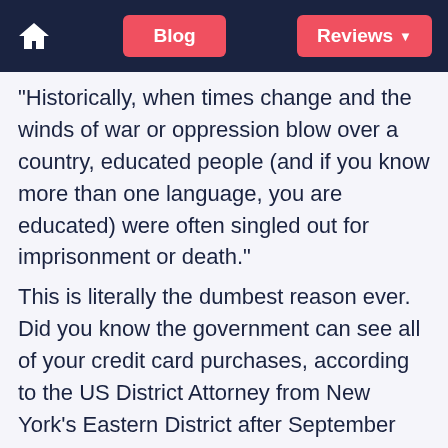Blog | Reviews
“Historically, when times change and the winds of war or oppression blow over a country, educated people (and if you know more than one language, you are educated) were often singled out for imprisonment or death.”
This is literally the dumbest reason ever. Did you know the government can see all of your credit card purchases, according to the US District Attorney from New York’s Eastern District after September 11? They probably will know you purchased language services from your website and would target you too.